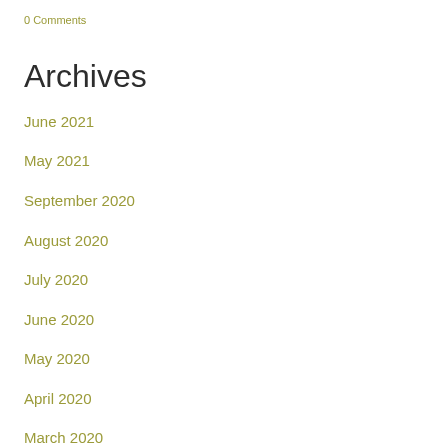0 Comments
Archives
June 2021
May 2021
September 2020
August 2020
July 2020
June 2020
May 2020
April 2020
March 2020